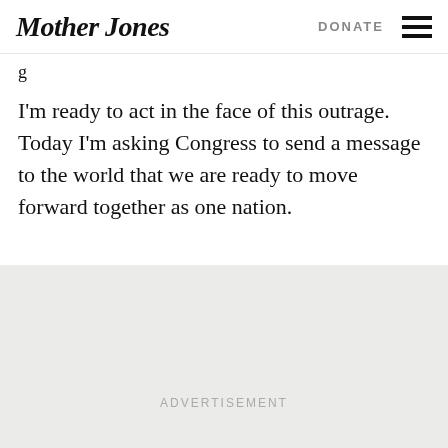Mother Jones | DONATE
g
I'm ready to act in the face of this outrage.  Today I'm asking Congress to send a message to the world that we are ready to move forward together as one nation.
ADVERTISEMENT